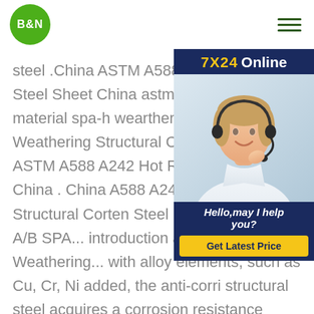[Figure (logo): B&N logo: white text B&N on green circle]
steel .China ASTM A588 A242 Hot Rolled Corten Steel Sheet China astm a242 steel plate building material spa-h wearther resistantChina Weathering Structural Corten Steel Plate ASTM A588 A242 Hot Rolled Corten Steel China . China A588 A242 Weathering Structural Corten Steel Plate with grade A/B SPA... introduction about Corten steel Weathering... with alloy elements, such as Cu, Cr, Ni added, the anti-corri structural steel acquires a corrosion resistance ability and extends the astm a242 steel plate building material spa-h wearther resistantCorten Corrugated Roofing Sheet - page 1.
[Figure (infographic): 7X24 Online chat widget with customer service representative photo, 'Hello,may I help you?' text, and 'Get Latest Price' button]